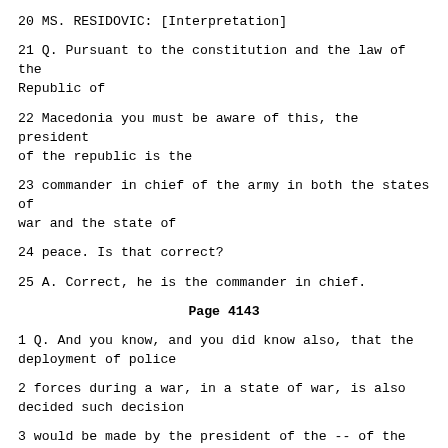20 MS. RESIDOVIC: [Interpretation]
21 Q. Pursuant to the constitution and the law of the Republic of
22 Macedonia you must be aware of this, the president of the republic is the
23 commander in chief of the army in both the states of war and the state of
24 peace. Is that correct?
25 A. Correct, he is the commander in chief.
Page 4143
1 Q. And you know, and you did know also, that the deployment of police
2 forces during a war, in a state of war, is also decided such decision
3 would be made by the president of the -- of the republic as a supreme
4 commander?
5 A. Correct. In cooperation, yes.
6 Q. Although in 2001 a new law on defence was adopted